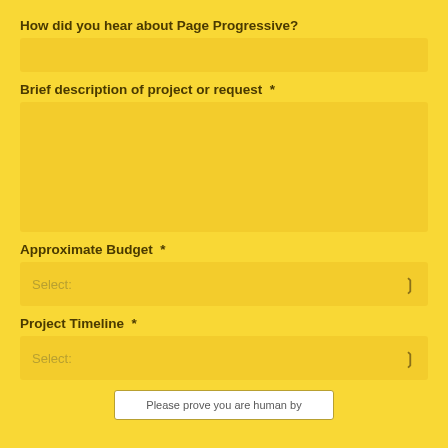How did you hear about Page Progressive?
(input box - short)
Brief description of project or request  *
(input box - tall)
Approximate Budget  *
Select:
Project Timeline  *
Select:
Please prove you are human by